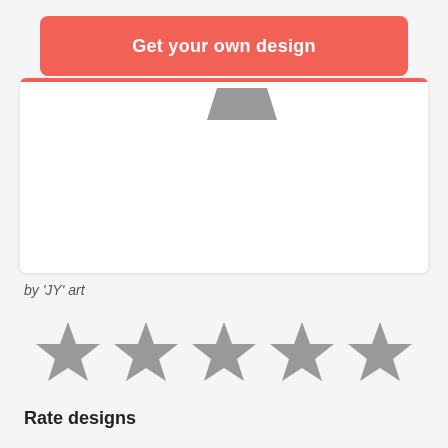Get your own design
[Figure (illustration): White card with a small grey trapezoid shape near the top center, with a coral/red top accent bar]
by 'JY' art
[Figure (other): Five grey star icons in a horizontal row representing a rating system]
Rate designs